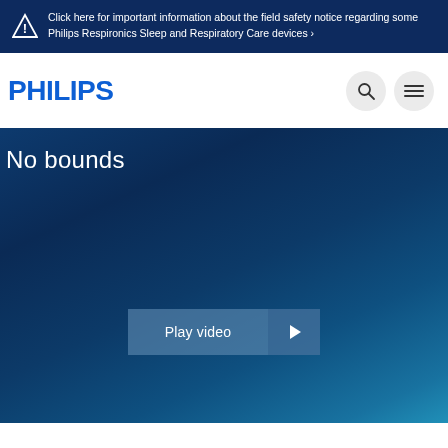Click here for important information about the field safety notice regarding some Philips Respironics Sleep and Respiratory Care devices ›
[Figure (logo): Philips logo - blue PHILIPS text with shield shape]
[Figure (infographic): Search icon and hamburger menu icon in circular buttons on white navigation bar]
No bounds
[Figure (other): Play video button with play arrow icon on dark blue gradient background]